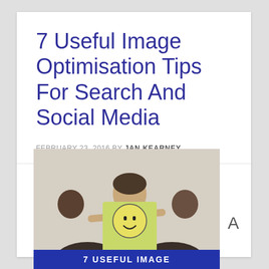7 Useful Image Optimisation Tips For Search And Social Media
FEBRUARY 23, 2016 BY JAN KEARNEY
[Figure (photo): Photo of person holding a sticky note with a smiley face drawn on it, with text '7 USEFUL IMAGE' visible at the bottom on a dark blue banner]
A